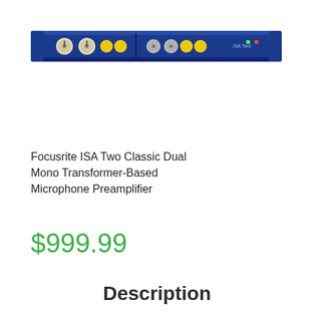[Figure (photo): Focusrite ISA Two Classic rack-mounted dual mono transformer-based microphone preamplifier unit, blue front panel with knobs and controls]
Focusrite ISA Two Classic Dual Mono Transformer-Based Microphone Preamplifier
$999.99
Description